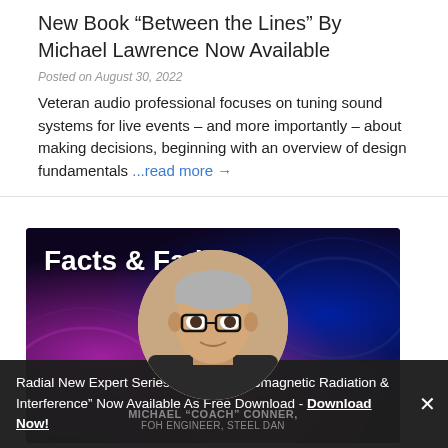New Book “Between the Lines” By Michael Lawrence Now Available
Posted on August 30, 2022
Veteran audio professional focuses on tuning sound systems for live events – and more importantly – about making decisions, beginning with an overview of design fundamentals ...read more →
[Figure (photo): Facts & Faders podcast banner image with person headshot in circular frame, dark purple abstract background with swirl patterns]
Radial New Expert Series Article “Electromagnetic Radiation & Interference” Now Available As Free Download - Download Now!